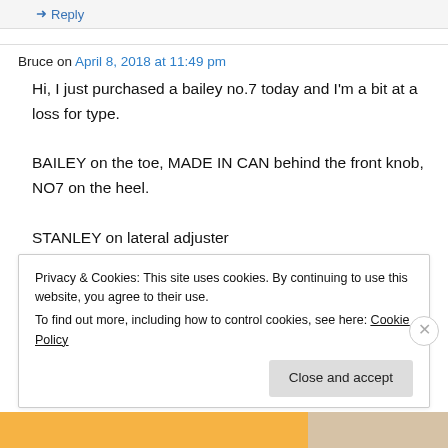→ Reply
Bruce on April 8, 2018 at 11:49 pm
Hi, I just purchased a bailey no.7 today and I'm a bit at a loss for type.
BAILEY on the toe, MADE IN CAN behind the front knob, NO7 on the heel.
STANLEY on lateral adjuster
brass adjustment wheel
STANLEY, MADE IN CAN on top of blade
Privacy & Cookies: This site uses cookies. By continuing to use this website, you agree to their use.
To find out more, including how to control cookies, see here: Cookie Policy
Close and accept